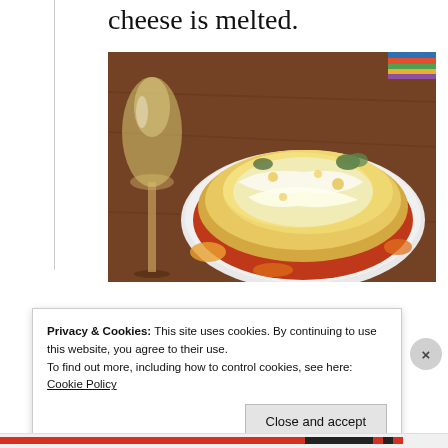cheese is melted.
[Figure (photo): A white baking dish filled with baked pasta or vegetable casserole topped with melted shredded cheese, served on a wooden table alongside a glass of white wine. The dish shows layers of colorful vegetables and red tomato sauce visible at the edges under the golden melted cheese.]
Privacy & Cookies: This site uses cookies. By continuing to use this website, you agree to their use.
To find out more, including how to control cookies, see here: Cookie Policy
Close and accept